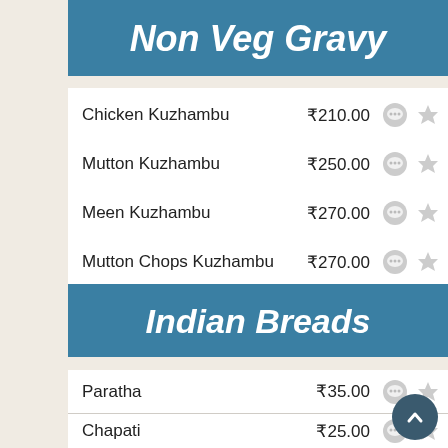Non Veg Gravy
Chicken Kuzhambu  ₹210.00
Mutton Kuzhambu  ₹250.00
Meen Kuzhambu  ₹270.00
Mutton Chops Kuzhambu  ₹270.00
Indian Breads
Paratha  ₹35.00
Chapati  ₹25.00
Soups